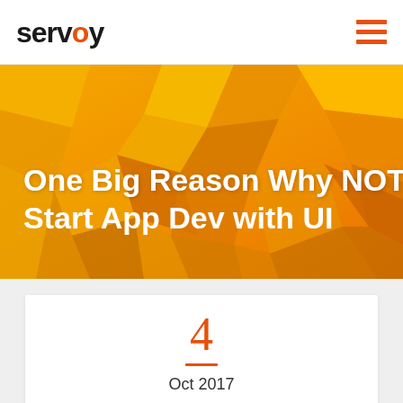servoy
[Figure (illustration): Hero banner image with orange/yellow geometric polygon shapes background and white bold text reading 'One Big Reason Why NOT to Start App Dev with UI']
One Big Reason Why NOT to Start App Dev with UI
4
Oct 2017